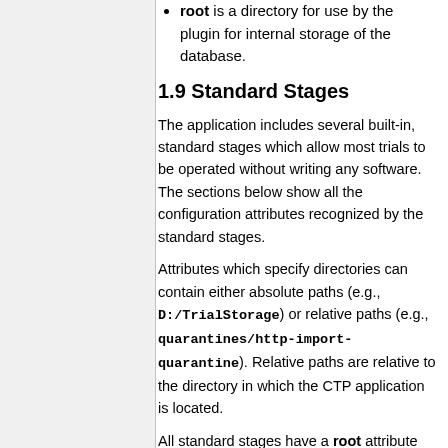root is a directory for use by the plugin for internal storage of the database.
1.9 Standard Stages
The application includes several built-in, standard stages which allow most trials to be operated without writing any software. The sections below show all the configuration attributes recognized by the standard stages.
Attributes which specify directories can contain either absolute paths (e.g., D:/TrialStorage) or relative paths (e.g., quarantines/http-import-quarantine). Relative paths are relative to the directory in which the CTP application is located.
All standard stages have a root attribute which defines a directory for use by the